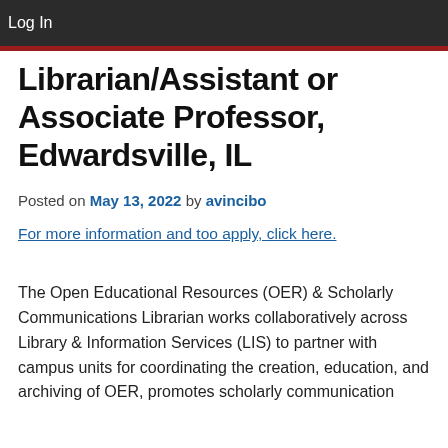Log In
Librarian/Assistant or Associate Professor, Edwardsville, IL
Posted on May 13, 2022 by avincibo
For more information and too apply, click here.
The Open Educational Resources (OER) & Scholarly Communications Librarian works collaboratively across Library & Information Services (LIS) to partner with campus units for coordinating the creation, education, and archiving of OER, promotes scholarly communication